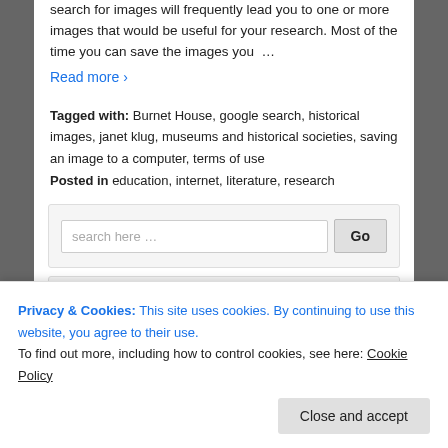search for images will frequently lead you to one or more images that would be useful for your research. Most of the time you can save the images you …
Read more ›
Tagged with: Burnet House, google search, historical images, janet klug, museums and historical societies, saving an image to a computer, terms of use
Posted in education, internet, literature, research
[Figure (screenshot): Search box with text input field showing placeholder 'search here …' and a Go button]
Privacy & Cookies: This site uses cookies. By continuing to use this website, you agree to their use. To find out more, including how to control cookies, see here: Cookie Policy
Close and accept
Enter your email address to receive notifications of